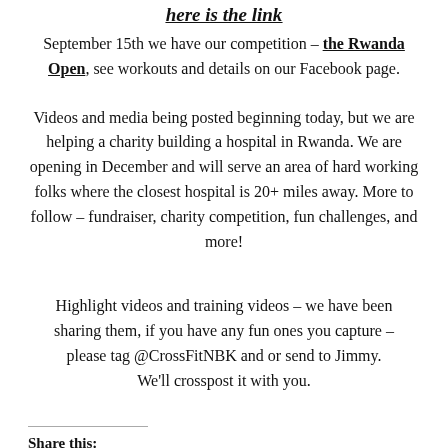here is the link
September 15th we have our competition – the Rwanda Open, see workouts and details on our Facebook page.
Videos and media being posted beginning today, but we are helping a charity building a hospital in Rwanda. We are opening in December and will serve an area of hard working folks where the closest hospital is 20+ miles away. More to follow – fundraiser, charity competition, fun challenges, and more!
Highlight videos and training videos – we have been sharing them, if you have any fun ones you capture – please tag @CrossFitNBK and or send to Jimmy. We'll crosspost it with you.
Share this: